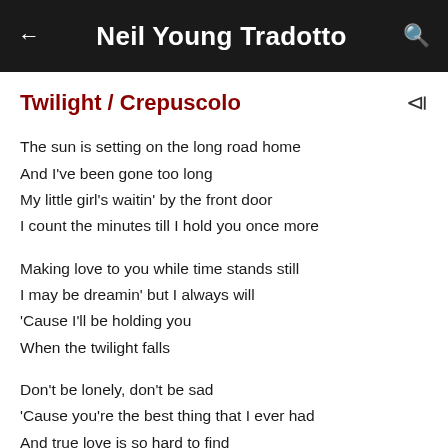Neil Young Tradotto
Twilight / Crepuscolo
The sun is setting on the long road home
And I've been gone too long
My little girl's waitin' by the front door
I count the minutes till I hold you once more
Making love to you while time stands still
I may be dreamin' but I always will
'Cause I'll be holding you
When the twilight falls
Don't be lonely, don't be sad
'Cause you're the best thing that I ever had
And true love is so hard to find
And we were lookin' for such a long time